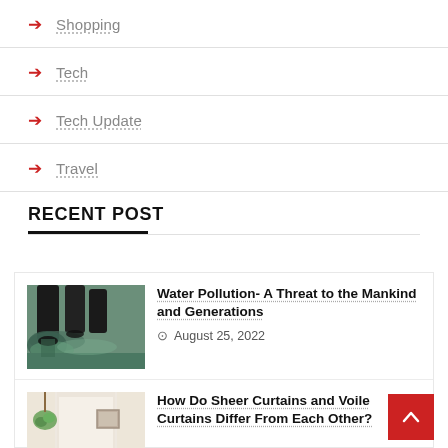→ Shopping
→ Tech
→ Tech Update
→ Travel
RECENT POST
Water Pollution- A Threat to the Mankind and Generations
August 25, 2022
How Do Sheer Curtains and Voile Curtains Differ From Each Other?